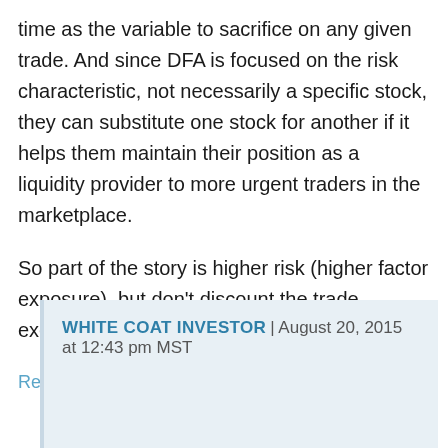time as the variable to sacrifice on any given trade. And since DFA is focused on the risk characteristic, not necessarily a specific stock, they can substitute one stock for another if it helps them maintain their position as a liquidity provider to more urgent traders in the marketplace.
So part of the story is higher risk (higher factor exposure), but don't discount the trade execution part of the equation.
Reply
White Coat Investor | August 20, 2015 at 12:43 pm MST